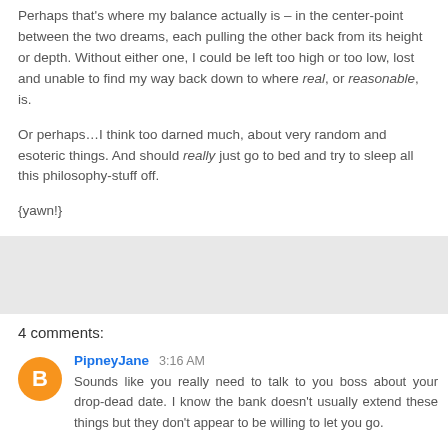Perhaps that's where my balance actually is – in the center-point between the two dreams, each pulling the other back from its height or depth. Without either one, I could be left too high or too low, lost and unable to find my way back down to where real, or reasonable, is.
Or perhaps…I think too darned much, about very random and esoteric things. And should really just go to bed and try to sleep all this philosophy-stuff off.
{yawn!}
[Figure (other): Gray rectangle placeholder/advertisement box]
4 comments:
PipneyJane 3:16 AM
Sounds like you really need to talk to you boss about your drop-dead date. I know the bank doesn't usually extend these things but they don't appear to be willing to let you go.